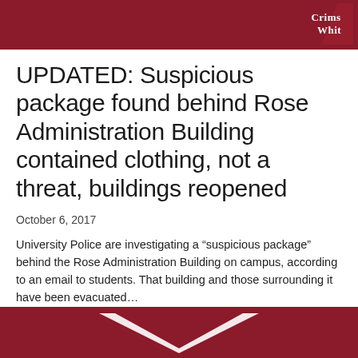Crimson White
UPDATED: Suspicious package found behind Rose Administration Building contained clothing, not a threat, buildings reopened
October 6, 2017
University Police are investigating a “suspicious package” behind the Rose Administration Building on campus, according to an email to students. That building and those surrounding it have been evacuated…
[Figure (logo): Crimson White newspaper logo in white text on dark red background]
[Figure (illustration): Dark red chevron/arrow graphic at bottom of page]